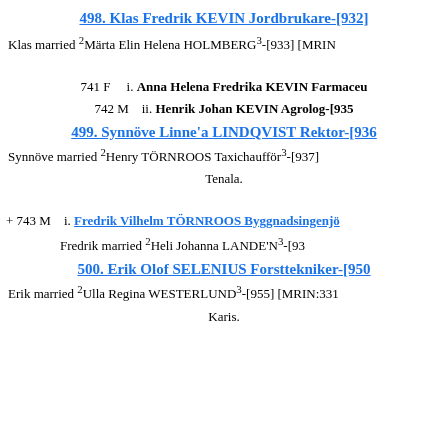498. Klas Fredrik KEVIN Jordbrukare-[932]
Klas married ²Märta Elin Helena HOLMBERG³-[933] [MRIN...
741 F    i. Anna Helena Fredrika KEVIN Farmaceu...
742 M    ii. Henrik Johan KEVIN Agrolog-[935...
499. Synnöve Linne'a LINDQVIST Rektor-[936...
Synnöve married ²Henry TÖRNROOS Taxichaufför³-[937] ... Tenala.
+ 743 M    i. Fredrik Vilhelm TÖRNROOS Byggnadsingenjör...
Fredrik married ²Heli Johanna LANDE'N³-[93...
500. Erik Olof SELENIUS Forsttekniker-[950...
Erik married ²Ulla Regina WESTERLUND³-[955] [MRIN:331... Karis.